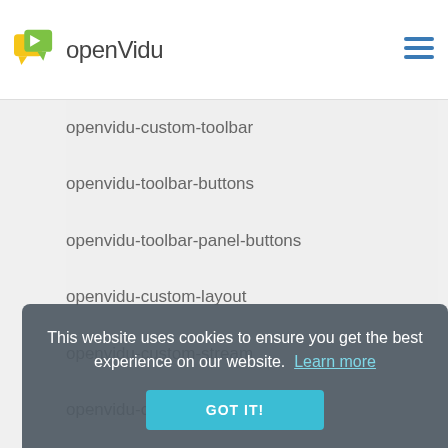openVidu
openvidu-custom-toolbar
openvidu-toolbar-buttons
openvidu-toolbar-panel-buttons
openvidu-custom-layout
openvidu-custom-stream
openvidu-custom-panels
openvidu-additional-panels
openvidu-custom-chat-panel
openvidu-custom-participant-panel-item
openvidu-custom-participant-panel-item-
This website uses cookies to ensure you get the best experience on our website. Learn more GOT IT!